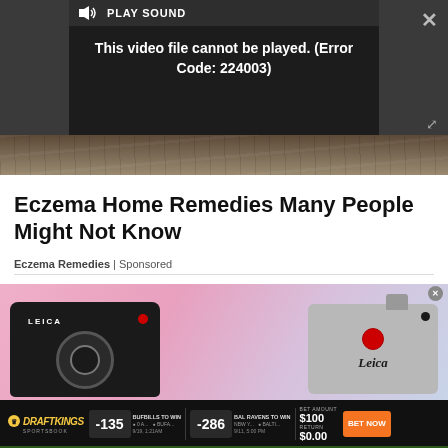[Figure (screenshot): Video player showing error message: This video file cannot be played. (Error Code: 224003) with PLAY SOUND button and dark background]
[Figure (photo): Wood grain background texture strip]
Eczema Home Remedies Many People Might Not Know
Eczema Remedies | Sponsored
[Figure (photo): Leica camera advertisement showing two Leica cameras against a pink/purple gradient background]
[Figure (screenshot): DraftKings Sportsbook betting banner: BUFFALO TO WIN -135 vs BAL RAVENS TO WIN -286, BET AMOUNT $100, RETURN $0.00, BET NOW button. Gambling Problem? Call (877-8-HOPENY) or text HOPENY (467369).]